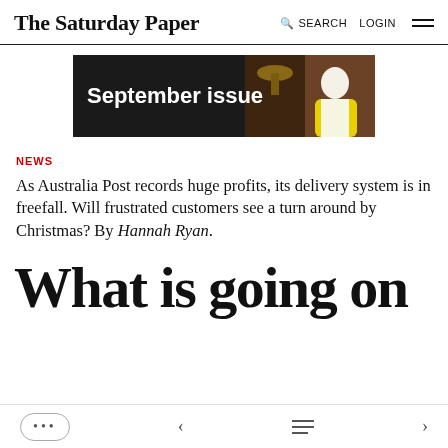The Saturday Paper   SEARCH   LOGIN
[Figure (photo): Advertisement banner for September issue with bold white text on dark background and a woman in a yellow jacket on the right side]
NEWS
As Australia Post records huge profits, its delivery system is in freefall. Will frustrated customers see a turn around by Christmas? By Hannah Ryan.
What is going on
... < menu > navigation bar